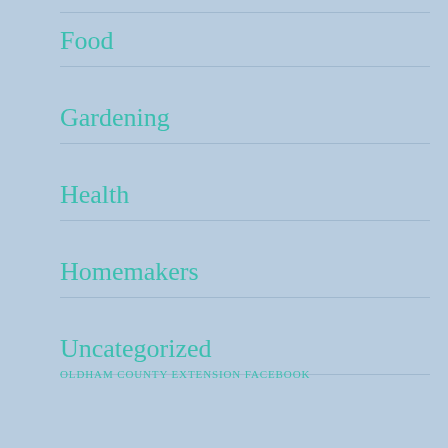Food
Gardening
Health
Homemakers
Uncategorized
OLDHAM COUNTY EXTENSION FACEBOOK